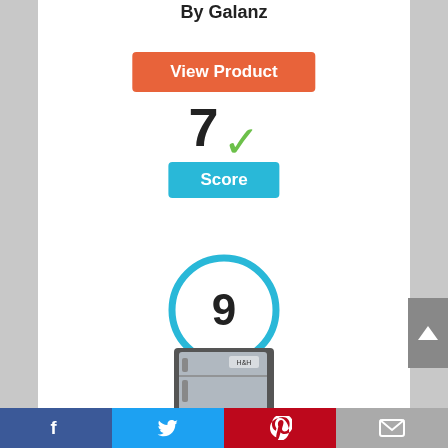By Galanz
View Product
[Figure (infographic): Score display showing '7' with green checkmark and blue 'Score' badge below]
[Figure (infographic): Circle with number 9 inside, outlined in blue]
[Figure (photo): Small compact refrigerator, silver/black color]
Facebook | Twitter | Pinterest | Email social share bar